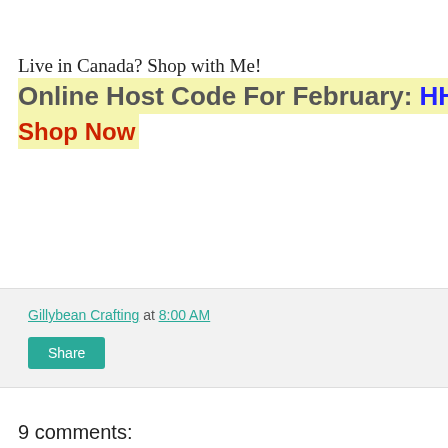Live in Canada? Shop with Me!
Online Host Code For February: HH247...
Shop Now
Gillybean Crafting at 8:00 AM
Share
9 comments: